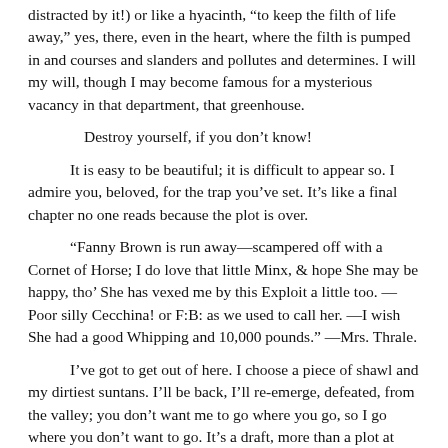distracted by it!) or like a hyacinth, “to keep the filth of life away,” yes, there, even in the heart, where the filth is pumped in and courses and slanders and pollutes and determines. I will my will, though I may become famous for a mysterious vacancy in that department, that greenhouse.
Destroy yourself, if you don’t know!
It is easy to be beautiful; it is difficult to appear so. I admire you, beloved, for the trap you’ve set. It’s like a final chapter no one reads because the plot is over.
“Fanny Brown is run away—scampered off with a Cornet of Horse; I do love that little Minx, & hope She may be happy, tho’ She has vexed me by this Exploit a little too. —Poor silly Cecchina! or F:B: as we used to call her. —I wish She had a good Whipping and 10,000 pounds.” —Mrs. Thrale.
I’ve got to get out of here. I choose a piece of shawl and my dirtiest suntans. I’ll be back, I’ll re-emerge, defeated, from the valley; you don’t want me to go where you go, so I go where you don’t want to go. It’s a draft, more than a plot at hand. The